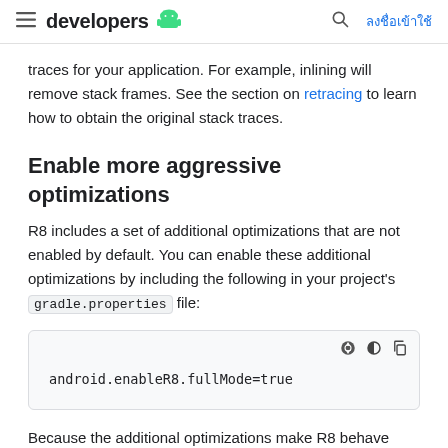developers [android logo] [search] ลงชื่อเข้าใช้
traces for your application. For example, inlining will remove stack frames. See the section on retracing to learn how to obtain the original stack traces.
Enable more aggressive optimizations
R8 includes a set of additional optimizations that are not enabled by default. You can enable these additional optimizations by including the following in your project's gradle.properties file:
[Figure (screenshot): Code block showing: android.enableR8.fullMode=true with dark mode and copy icons in top-right corner]
Because the additional optimizations make R8 behave